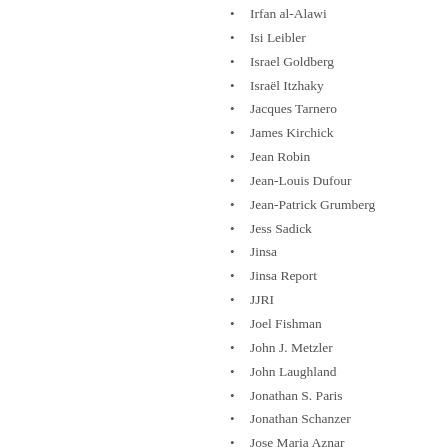Irfan al-Alawi
Isi Leibler
Israel Goldberg
Israël Itzhaky
Jacques Tarnero
James Kirchick
Jean Robin
Jean-Louis Dufour
Jean-Patrick Grumberg
Jess Sadick
Jinsa
Jinsa Report
JJRI
Joel Fishman
John J. Metzler
John Laughland
Jonathan S. Paris
Jonathan Schanzer
Jose Maria Aznar
Josh Block
Julie Stein
Karla Jones
Laurent Murawiec
Le Figaro
Le Figaro
Linda Chavez
Melanie Phillips
Memri